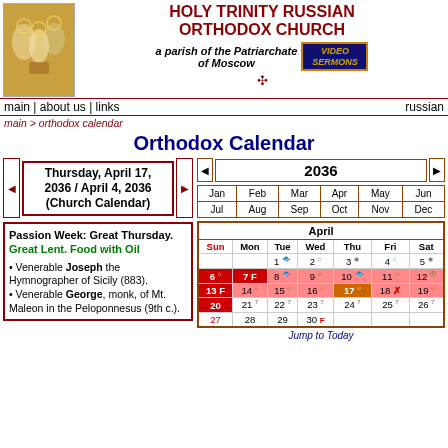HOLY TRINITY RUSSIAN ORTHODOX CHURCH
a parish of the Patriarchate of Moscow
main | about us | links | russian
main > orthodox calendar
Orthodox Calendar
Thursday, April 17, 2036 / April 4, 2036 (Church Calendar)
2036
Passion Week: Great Thursday.
Great Lent. Food with Oil
• Venerable Joseph the Hymnographer of Sicily (883).
• Venerable George, monk, of Mt. Maleon in the Peloponnesus (9th c.).
| Jan | Feb | Mar | Apr | May | Jun | Jul | Aug | Sep | Oct | Nov | Dec |
| --- | --- | --- | --- | --- | --- | --- | --- | --- | --- | --- | --- |
| Jan | Feb | Mar | Apr | May | Jun |
| Jul | Aug | Sep | Oct | Nov | Dec |
| Sun | Mon | Tue | Wed | Thu | Fri | Sat |
| --- | --- | --- | --- | --- | --- | --- |
|  |  | 1 | 2 | 3 | 4 | 5 |
| 6 | 7 F | 8 | 9 | 10 | 11 | 12 |
| 13 F | 14 | 15 | 16 | 17 | 18 X | 19 |
| 20 | 21 | 22 | 23 | 24 | 25 | 26 |
| 27 | 28 | 29 | 30 F |  |  |  |